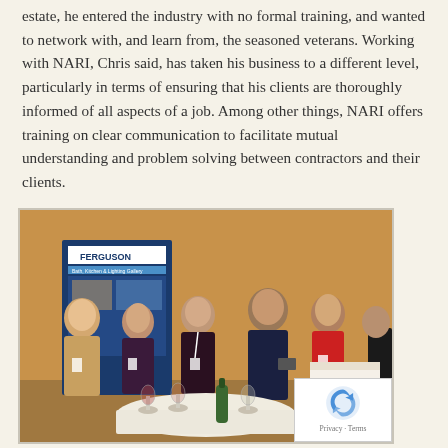estate, he entered the industry with no formal training, and wanted to network with, and learn from, the seasoned veterans. Working with NARI, Chris said, has taken his business to a different level, particularly in terms of ensuring that his clients are thoroughly informed of all aspects of a job. Among other things, NARI offers training on clear communication to facilitate mutual understanding and problem solving between contractors and their clients.
[Figure (photo): Group of people standing and talking at a networking event. A Ferguson Bath, Kitchen & Lighting Gallery banner is visible in the background. People are wearing name badges. There is a round table with wine glasses in the foreground.]